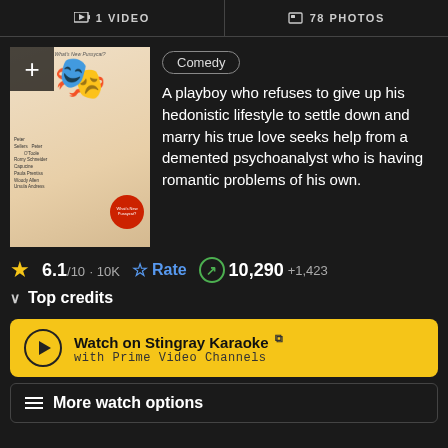1 VIDEO   78 PHOTOS
[Figure (photo): Movie poster for a comedy film featuring illustrated characters]
Comedy
A playboy who refuses to give up his hedonistic lifestyle to settle down and marry his true love seeks help from a demented psychoanalyst who is having romantic problems of his own.
6.1/10 · 10K   Rate   10,290 +1,423
Top credits
Watch on Stingray Karaoke with Prime Video Channels
More watch options